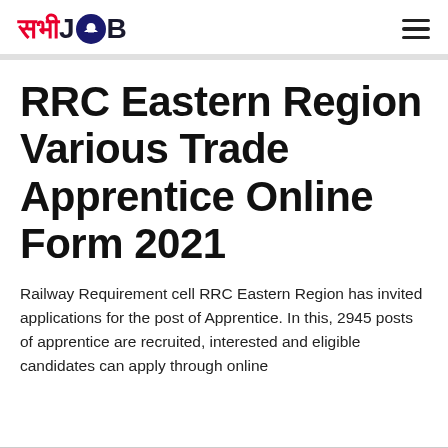सभी JOB
RRC Eastern Region Various Trade Apprentice Online Form 2021
Railway Requirement cell RRC Eastern Region has invited applications for the post of Apprentice. In this, 2945 posts of apprentice are recruited, interested and eligible candidates can apply through online